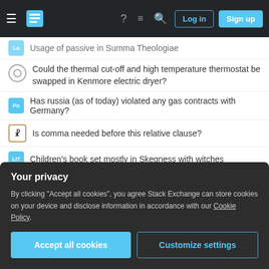Stack Exchange navigation bar with Log in and Sign up buttons
Usage of passive in Summa Theologiae
Could the thermal cut-off and high temperature thermostat be swapped in Kenmore electric dryer?
Has russia (as of today) violated any gas contracts with Germany?
Is comma needed before this relative clause?
Children's book set mostly in Skegness with witches
Should I be disappointed about this quality of craftsmanship in new front door?
Automatic Value generation on QGIS
Extreme Wordle solver
Your privacy
By clicking "Accept all cookies", you agree Stack Exchange can store cookies on your device and disclose information in accordance with our Cookie Policy.
Accept all cookies | Customize settings